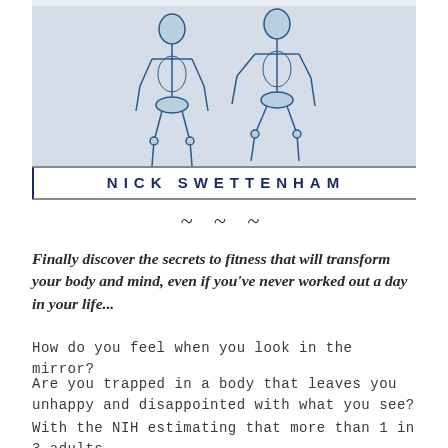[Figure (illustration): Blue anatomical skeleton illustration with two human figure outlines above an author name banner reading NICK SWETTENHAM on white background with dark border]
~~~
Finally discover the secrets to fitness that will transform your body and mind, even if you've never worked out a day in your life...
How do you feel when you look in the mirror?
Are you trapped in a body that leaves you unhappy and disappointed with what you see?
With the NIH estimating that more than 1 in 3 adults